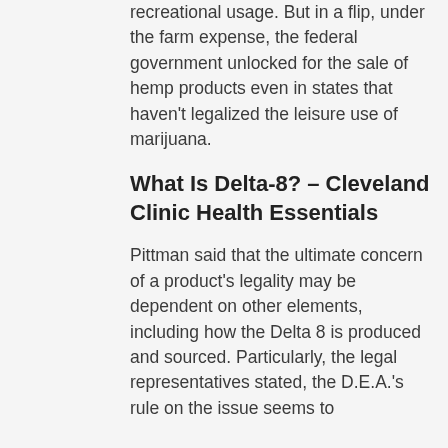recreational usage. But in a flip, under the farm expense, the federal government unlocked for the sale of hemp products even in states that haven't legalized the leisure use of marijuana.
What Is Delta-8? – Cleveland Clinic Health Essentials
Pittman said that the ultimate concern of a product's legality may be dependent on other elements, including how the Delta 8 is produced and sourced. Particularly, the legal representatives stated, the D.E.A.'s rule on the issue seems to